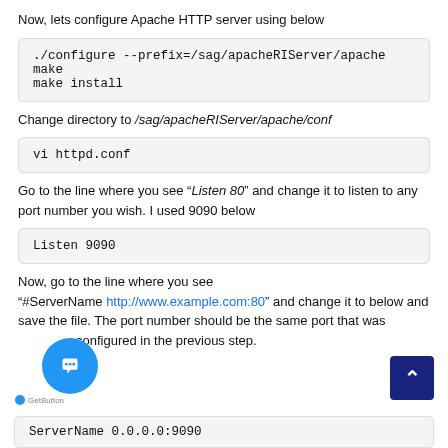Now, lets configure Apache HTTP server using below
./configure --prefix=/sag/apacheRIServer/apache
make
make install
Change directory to /sag/apacheRIServer/apache/conf
vi httpd.conf
Go to the line where you see “Listen 80” and change it to listen to any port number you wish. I used 9090 below
Listen 9090
Now, go to the line where you see “#ServerName http://www.example.com:80” and change it to below and save the file. The port number should be the same port that was configured in the previous step.
ServerName 0.0.0.0:9090